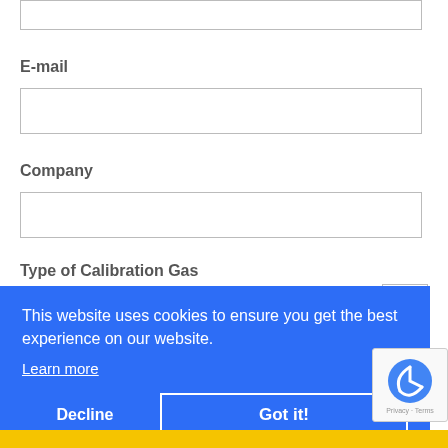[Figure (screenshot): Partial top input field (cut off at top of page)]
E-mail
[Figure (screenshot): E-mail input text field]
Company
[Figure (screenshot): Company input text field]
Type of Calibration Gas
This website uses cookies to ensure you get the best experience on our website. Learn more
Decline
Got it!
[Figure (other): reCAPTCHA badge with logo and Privacy - Terms text]